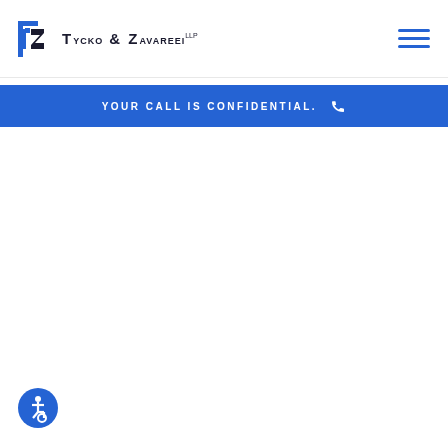Tycko & Zavareei LLP
YOUR CALL IS CONFIDENTIAL.
[Figure (logo): Accessibility icon button (wheelchair symbol) in blue circle, bottom left corner]